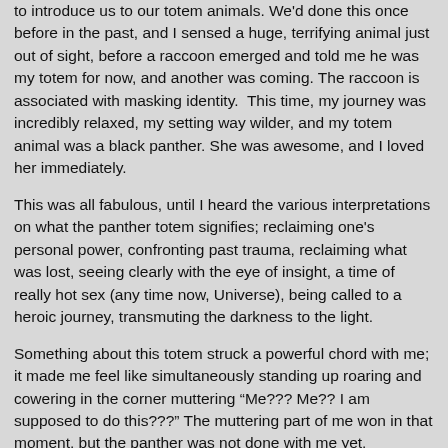to introduce us to our totem animals. We'd done this once before in the past, and I sensed a huge, terrifying animal just out of sight, before a raccoon emerged and told me he was my totem for now, and another was coming. The raccoon is associated with masking identity.  This time, my journey was incredibly relaxed, my setting way wilder, and my totem animal was a black panther. She was awesome, and I loved her immediately.
This was all fabulous, until I heard the various interpretations on what the panther totem signifies; reclaiming one's personal power, confronting past trauma, reclaiming what was lost, seeing clearly with the eye of insight, a time of really hot sex (any time now, Universe), being called to a heroic journey, transmuting the darkness to the light.
Something about this totem struck a powerful chord with me; it made me feel like simultaneously standing up roaring and cowering in the corner muttering “Me??? Me?? I am supposed to do this???” The muttering part of me won in that moment, but the panther was not done with me yet.
A month later- I’m dreaming of the creepiest things imaginable – think giant floating scrubbing bubbles, but evil and made out of liquid living gray paint. They were surrounding me until one of those aforementioned powerful